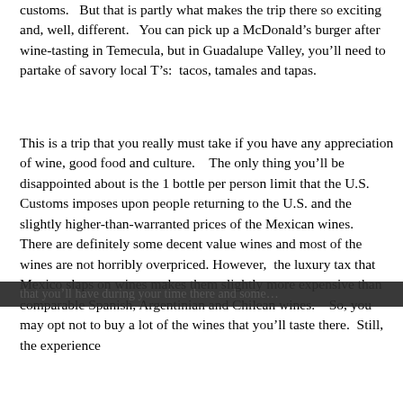customs.   But that is partly what makes the trip there so exciting and, well, different.   You can pick up a McDonald's burger after wine-tasting in Temecula, but in Guadalupe Valley, you'll need to partake of savory local T's:  tacos, tamales and tapas.
This is a trip that you really must take if you have any appreciation of wine, good food and culture.    The only thing you'll be disappointed about is the 1 bottle per person limit that the U.S. Customs imposes upon people returning to the U.S. and the slightly higher-than-warranted prices of the Mexican wines.   There are definitely some decent value wines and most of the wines are not horribly overpriced.  However,  the luxury tax that Mexico slaps on wines makes them slightly more expensive than comparable Spanish, Argentinian and Chilean wines.    So, you may opt not to buy a lot of the wines that you'll taste there.  Still, the experience